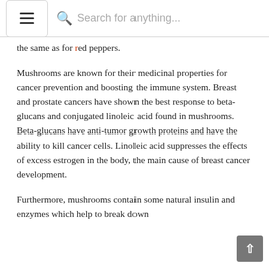Search for anything...
the same as for red peppers.
Mushrooms are known for their medicinal properties for cancer prevention and boosting the immune system. Breast and prostate cancers have shown the best response to beta-glucans and conjugated linoleic acid found in mushrooms. Beta-glucans have anti-tumor growth proteins and have the ability to kill cancer cells. Linoleic acid suppresses the effects of excess estrogen in the body, the main cause of breast cancer development.
Furthermore, mushrooms contain some natural insulin and enzymes which help to break down starch and sugars in the body that can be